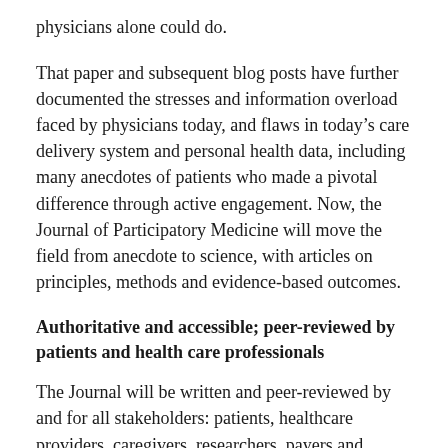physicians alone could do.
That paper and subsequent blog posts have further documented the stresses and information overload faced by physicians today, and flaws in today's care delivery system and personal health data, including many anecdotes of patients who made a pivotal difference through active engagement. Now, the Journal of Participatory Medicine will move the field from anecdote to science, with articles on principles, methods and evidence-based outcomes.
Authoritative and accessible; peer-reviewed by patients and health care professionals
The Journal will be written and peer-reviewed by and for all stakeholders: patients, healthcare providers, caregivers, researchers, payers and policymakers. Physicians who have practiced in the participatory model report greater satisfaction when they work